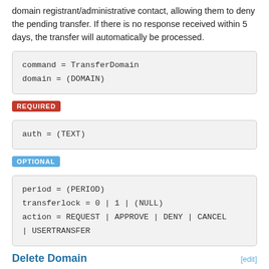domain registrant/administrative contact, allowing them to deny the pending transfer. If there is no response received within 5 days, the transfer will automatically be processed.
REQUIRED
OPTIONAL
Delete Domain
Domains can be deleted with the API DeleteDomain command.
There is a Deletion Restorable Period of 30 days and a